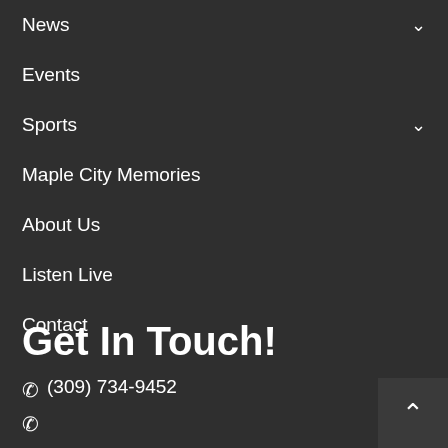News
Events
Sports
Maple City Memories
About Us
Listen Live
Contact
Get In Touch!
(309) 734-9452